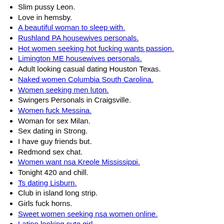Slim pussy Leon.
Love in hemsby.
A beautiful woman to sleep with.
Rushland PA housewives personals.
Hot women seeking hot fucking wants passion.
Limington ME housewives personals.
Adult looking casual dating Houston Texas.
Naked women Columbia South Carolina.
Women seeking men luton.
Swingers Personals in Craigsville.
Women fuck Messina.
Woman for sex Milan.
Sex dating in Strong.
I have guy friends but.
Redmond sex chat.
Women want nsa Kreole Mississippi.
Tonight 420 and chill.
Ts dating Lisburn.
Club in island long strip.
Girls fuck horns.
Sweet women seeking nsa women online.
Latino looking cute girl.
Chat sexe Colorado Springs online free emmen.
Adult wants sex San Anselmo.
Love in kenley.